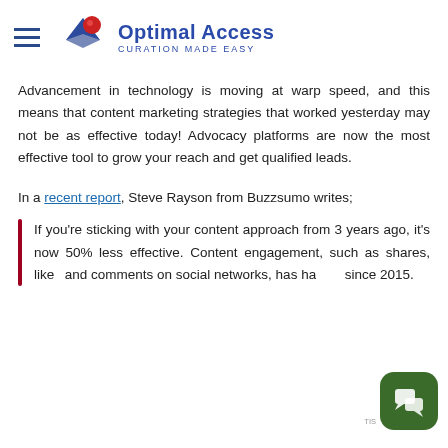Optimal Access — CURATION MADE EASY
Advancement in technology is moving at warp speed, and this means that content marketing strategies that worked yesterday may not be as effective today! Advocacy platforms are now the most effective tool to grow your reach and get qualified leads.
In a recent report, Steve Rayson from Buzzsumo writes;
If you're sticking with your content approach from 3 years ago, it's now 50% less effective. Content engagement, such as shares, likes and comments on social networks, has halved since 2015.